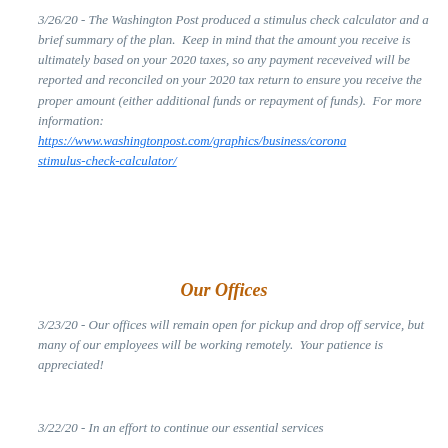3/26/20 - The Washington Post produced a stimulus check calculator and a brief summary of the plan.  Keep in mind that the amount you receive is ultimately based on your 2020 taxes, so any payment receveived will be reported and reconciled on your 2020 tax return to ensure you receive the proper amount (either additional funds or repayment of funds).  For more information: https://www.washingtonpost.com/graphics/business/coronavirus-stimulus-check-calculator/
Our Offices
3/23/20 - Our offices will remain open for pickup and drop off service, but many of our employees will be working remotely.  Your patience is appreciated!
3/22/20 - In an effort to continue our essential services